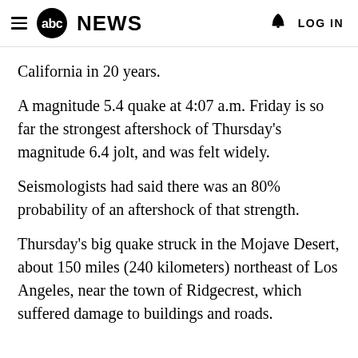abc NEWS  LOG IN
California in 20 years.
A magnitude 5.4 quake at 4:07 a.m. Friday is so far the strongest aftershock of Thursday's magnitude 6.4 jolt, and was felt widely.
Seismologists had said there was an 80% probability of an aftershock of that strength.
Thursday's big quake struck in the Mojave Desert, about 150 miles (240 kilometers) northeast of Los Angeles, near the town of Ridgecrest, which suffered damage to buildings and roads.